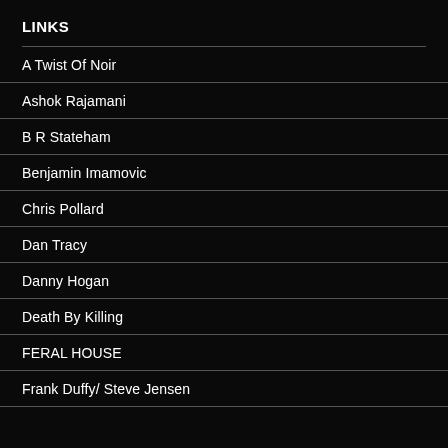LINKS
A Twist Of Noir
Ashok Rajamani
B R Stateham
Benjamin Imamovic
Chris Pollard
Dan Tracy
Danny Hogan
Death By Killing
FERAL HOUSE
Frank Duffy/ Steve Jensen